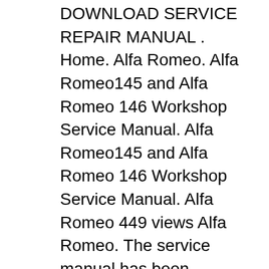DOWNLOAD SERVICE REPAIR MANUAL . Home. Alfa Romeo. Alfa Romeo145 and Alfa Romeo 146 Workshop Service Manual. Alfa Romeo145 and Alfa Romeo 146 Workshop Service Manual. Alfa Romeo 449 views Alfa Romeo. The service manual has been prepared as an aid to improve the quality of repairs by giving the serviceman an accurate understanding of the вЂ¦ We would, of course, always suggest you take your vehicle to an Alfa Romeo specialist, but if you're doing your own maintenance, you must always use a model specific workshop manual, and rigorously follow all safety advice contained within it. Brakes & steering Replacing the wheel bearing on an Alfa Romeo Giulietta.